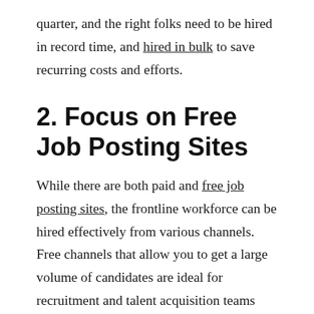quarter, and the right folks need to be hired in record time, and hired in bulk to save recurring costs and efforts.
2. Focus on Free Job Posting Sites
While there are both paid and free job posting sites, the frontline workforce can be hired effectively from various channels. Free channels that allow you to get a large volume of candidates are ideal for recruitment and talent acquisition teams that need to hire blue-collar staff in bulk.